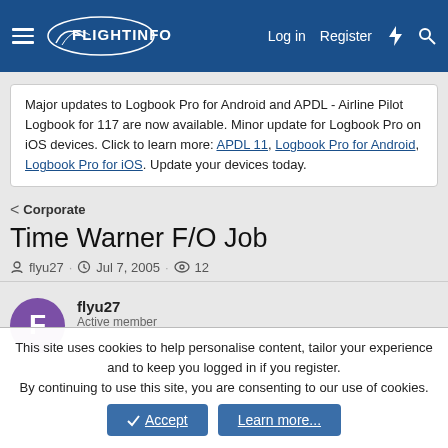FlightInfo — Log in | Register
Major updates to Logbook Pro for Android and APDL - Airline Pilot Logbook for 117 are now available. Minor update for Logbook Pro on iOS devices. Click to learn more: APDL 11, Logbook Pro for Android, Logbook Pro for iOS. Update your devices today.
< Corporate
Time Warner F/O Job
flyu27 · Jul 7, 2005 · 12
flyu27
Active member
This site uses cookies to help personalise content, tailor your experience and to keep you logged in if you register.
By continuing to use this site, you are consenting to our use of cookies.